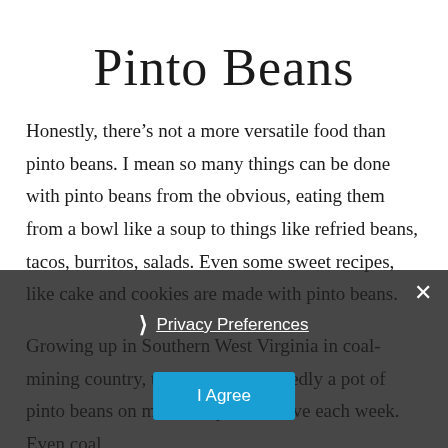Pinto Beans
Honestly, there’s not a more versatile food than pinto beans. I mean so many things can be done with pinto beans from the obvious, eating them from a bowl like a soup to things like refried beans, tacos, burritos, salads. Even some sweet recipes, like cake and cookies are made with pinto beans.
Growing up in Southern West Virginia in coal-mining country, there was undoubtedly a pot of pinto beans on most everyone’s stove each week. Even coal
Privacy Preferences
I Agree